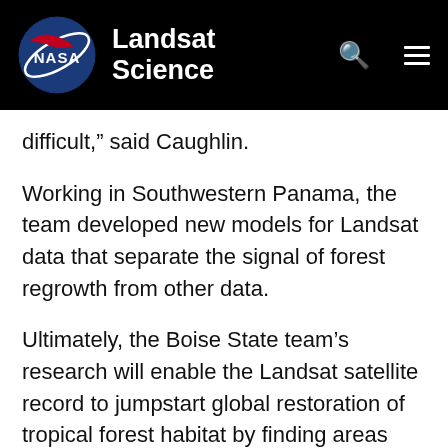NASA Landsat Science
difficult,” said Caughlin.
Working in Southwestern Panama, the team developed new models for Landsat data that separate the signal of forest regrowth from other data.
Ultimately, the Boise State team’s research will enable the Landsat satellite record to jumpstart global restoration of tropical forest habitat by finding areas that are already regrowing forest